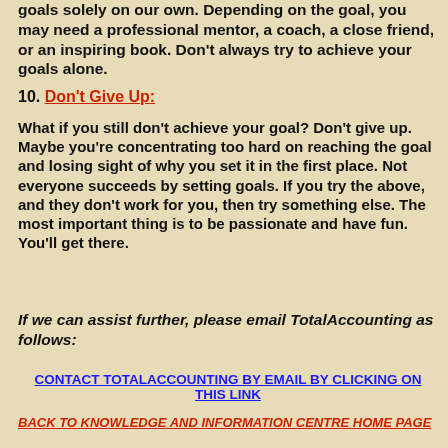goals solely on our own. Depending on the goal, you may need a professional mentor, a coach, a close friend, or an inspiring book. Don't always try to achieve your goals alone.
10. Don't Give Up:
What if you still don't achieve your goal? Don't give up. Maybe you're concentrating too hard on reaching the goal and losing sight of why you set it in the first place. Not everyone succeeds by setting goals. If you try the above, and they don't work for you, then try something else. The most important thing is to be passionate and have fun. You'll get there.
If we can assist further, please email TotalAccounting as follows:
CONTACT TOTALACCOUNTING BY EMAIL BY CLICKING ON THIS LINK
BACK TO KNOWLEDGE AND INFORMATION CENTRE HOME PAGE